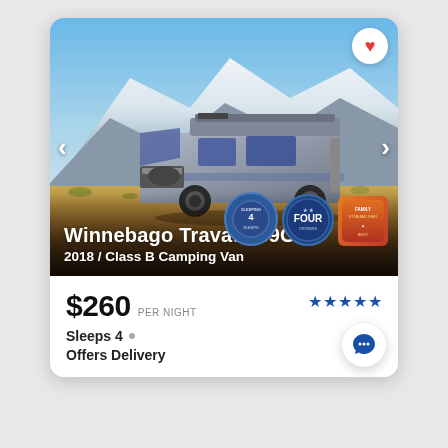[Figure (photo): Photo of a silver 2018 Winnebago Travato 59G Class B Camping Van parked in a desert landscape with snow-capped mountains in the background. Navigation arrows on left and right sides of image. Heart/favorite button in top right corner. Two circular blue badges and one orange rectangular badge in bottom right of image.]
Winnebago Travato 59G
2018 / Class B Camping Van
$260 PER NIGHT
Sleeps 4 •
Offers Delivery